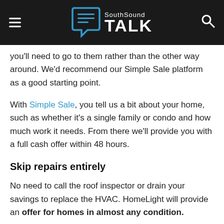SouthSound TALK
you'll need to go to them rather than the other way around. We'd recommend our Simple Sale platform as a good starting point.
With Simple Sale, you tell us a bit about your home, such as whether it's a single family or condo and how much work it needs. From there we'll provide you with a full cash offer within 48 hours.
Skip repairs entirely
No need to call the roof inspector or drain your savings to replace the HVAC. HomeLight will provide an offer for homes in almost any condition.